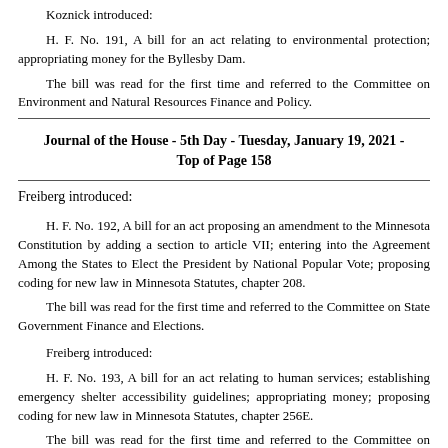Koznick introduced:
H. F. No. 191, A bill for an act relating to environmental protection; appropriating money for the Byllesby Dam.
The bill was read for the first time and referred to the Committee on Environment and Natural Resources Finance and Policy.
Journal of the House - 5th Day - Tuesday, January 19, 2021 - Top of Page 158
Freiberg introduced:
H. F. No. 192, A bill for an act proposing an amendment to the Minnesota Constitution by adding a section to article VII; entering into the Agreement Among the States to Elect the President by National Popular Vote; proposing coding for new law in Minnesota Statutes, chapter 208.
The bill was read for the first time and referred to the Committee on State Government Finance and Elections.
Freiberg introduced:
H. F. No. 193, A bill for an act relating to human services; establishing emergency shelter accessibility guidelines; appropriating money; proposing coding for new law in Minnesota Statutes, chapter 256E.
The bill was read for the first time and referred to the Committee on Human